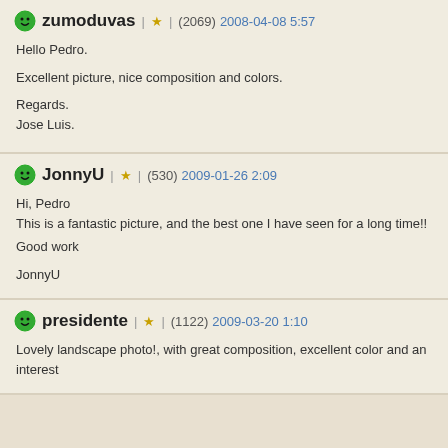zumoduvas | ★ (2069) 2008-04-08 5:57
Hello Pedro.

Excellent picture, nice composition and colors.

Regards.
Jose Luis.
JonnyU | ★ (530) 2009-01-26 2:09
Hi, Pedro
This is a fantastic picture, and the best one I have seen for a long time!!

Good work

JonnyU
presidente | ★ (1122) 2009-03-20 1:10
Lovely landscape photo!, with great composition, excellent color and an interest